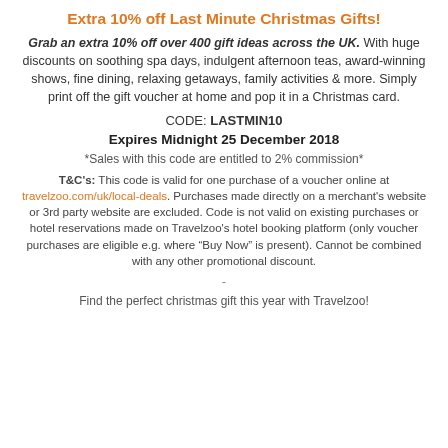Extra 10% off Last Minute Christmas Gifts!
Grab an extra 10% off over 400 gift ideas across the UK. With huge discounts on soothing spa days, indulgent afternoon teas, award-winning shows, fine dining, relaxing getaways, family activities & more. Simply print off the gift voucher at home and pop it in a Christmas card.
CODE: LASTMIN10
Expires Midnight 25 December 2018
*Sales with this code are entitled to 2% commission*
T&C's: This code is valid for one purchase of a voucher online at travelzoo.com/uk/local-deals. Purchases made directly on a merchant's website or 3rd party website are excluded. Code is not valid on existing purchases or hotel reservations made on Travelzoo's hotel booking platform (only voucher purchases are eligible e.g. where "Buy Now" is present). Cannot be combined with any other promotional discount.
-
Find the perfect christmas gift this year with Travelzoo!